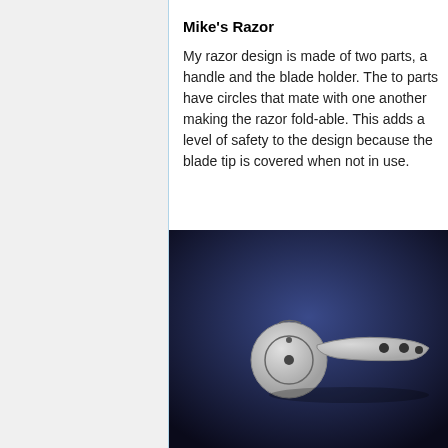Mike's Razor
My razor design is made of two parts, a handle and the blade holder. The to parts have circles that mate with one another making the razor fold-able. This adds a level of safety to the design because the blade tip is covered when not in use.
[Figure (engineering-diagram): 3D CAD render of a folding razor design showing a circular blade holder and an elongated handle piece with mounting holes, rendered against a dark blue gradient background]